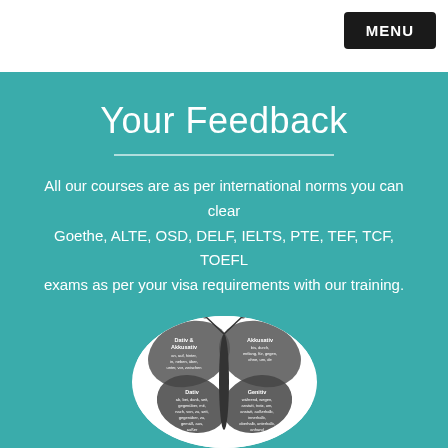MENU
Your Feedback
All our courses are as per international norms you can clear Goethe, ALTE, OSD, DELF, IELTS, PTE, TEF, TCF, TOEFL exams as per your visa requirements with our training.
[Figure (illustration): A butterfly diagram titled PRÄPOSITIONEN showing German prepositions categorized by case: Dativ & Akkusativ (wings), Akkusativ (top right wing), Dativ (bottom left wing), Genitiv (bottom right wing), displayed inside a white circle on a teal background.]